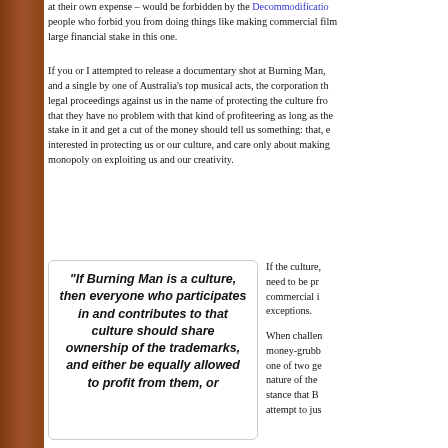at their own expense – would be forbidden by the Decommodification people who forbid you from doing things like making commercial film large financial stake in this one.
If you or I attempted to release a documentary shot at Burning Man, and a single by one of Australia's top musical acts, the corporation th legal proceedings against us in the name of protecting the culture fro that they have no problem with that kind of profiteering as long as the stake in it and get a cut of the money should tell us something: that, interested in protecting us or our culture, and care only about making monopoly on exploiting us and our creativity.
"If Burning Man is a culture, then everyone who participates in and contributes to that culture should share ownership of the trademarks, and either be equally allowed to profit from them, or
If the culture, need to be pr commercial i exceptions.

When challen money-grubb one of two ge nature of the stance that B attempt to jus